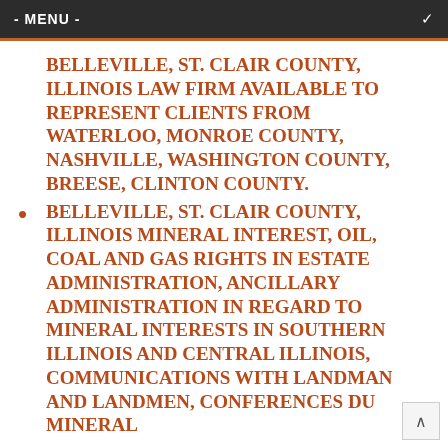- MENU -
BELLEVILLE, ST. CLAIR COUNTY, ILLINOIS LAW FIRM AVAILABLE TO REPRESENT CLIENTS FROM WATERLOO, MONROE COUNTY, NASHVILLE, WASHINGTON COUNTY, BREESE, CLINTON COUNTY.
BELLEVILLE, ST. CLAIR COUNTY, ILLINOIS MINERAL INTEREST, OIL, COAL AND GAS RIGHTS IN ESTATE ADMINISTRATION, ANCILLARY ADMINISTRATION IN REGARD TO MINERAL INTERESTS IN SOUTHERN ILLINOIS AND CENTRAL ILLINOIS, COMMUNICATIONS WITH LANDMAN AND LANDMEN, CONFERENCES DU MINERAL